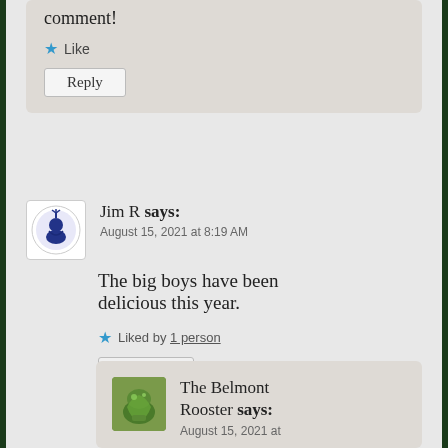comment!
Like
Reply
Jim R says:
August 15, 2021 at 8:19 AM
The big boys have been delicious this year.
Liked by 1 person
Reply
The Belmont Rooster says:
August 15, 2021 at